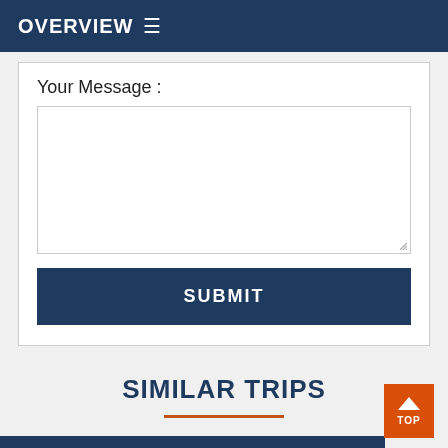OVERVIEW ≡
Your Message :
[Figure (screenshot): Empty textarea input box with resize handle in bottom-right corner]
SUBMIT
SIMILAR TRIPS
[Figure (other): Orange underline decorative bar beneath SIMILAR TRIPS heading]
[Figure (other): Orange TOP button with upward arrow in bottom-right corner, and blue strip at bottom left]